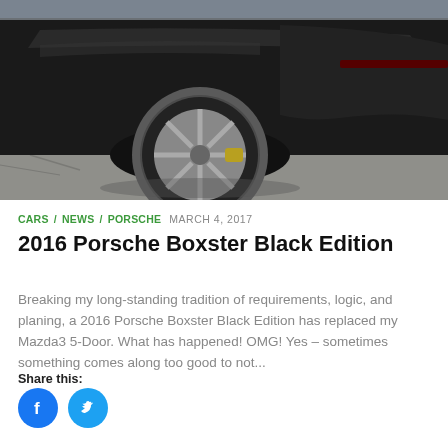[Figure (photo): Close-up photo of a black Porsche Boxster, showing the rear wheel area with a silver multi-spoke alloy wheel, on a wet pavement background. The car has a dark body with visible body lines.]
CARS / NEWS / PORSCHE   MARCH 4, 2017
2016 Porsche Boxster Black Edition
Breaking my long-standing tradition of requirements, logic, and planing, a 2016 Porsche Boxster Black Edition has replaced my Mazda3 5-Door. What has happened! OMG! Yes – sometimes something comes along too good to not...
Share this:
[Figure (illustration): Facebook share button (blue circle with white Facebook 'f' icon) and Twitter share button (cyan circle with white bird icon)]